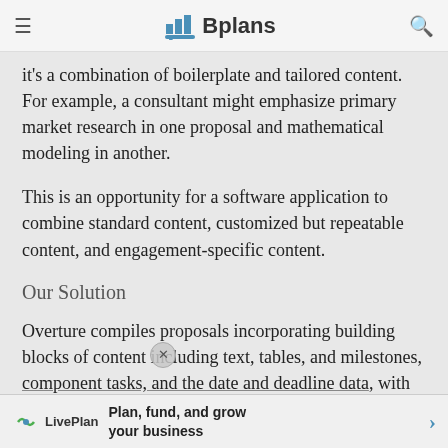Bplans
it's a combination of boilerplate and tailored content. For example, a consultant might emphasize primary market research in one proposal and mathematical modeling in another.
This is an opportunity for a software application to combine standard content, customized but repeatable content, and engagement-specific content.
Our Solution
Overture compiles proposals incorporating building blocks of content including text, tables, and milestones, component tasks, and the date and deadline data, with ongoing communication with clients.
Plan, fund, and grow your business — LivePlan